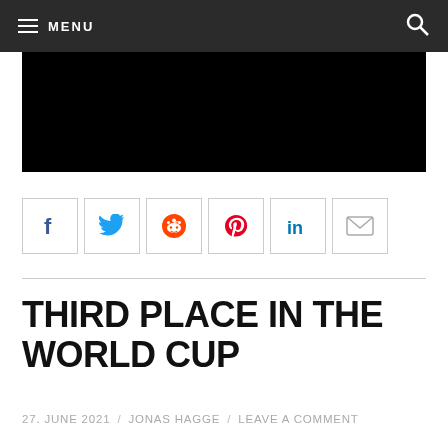≡ MENU
[Figure (photo): Black image area, likely a video or photo thumbnail]
[Figure (infographic): Social share icon buttons: Facebook, Twitter, Reddit, Pinterest, LinkedIn, Email]
THIRD PLACE IN THE WORLD CUP
27. JUNE 2021 / JONAS HAGGE / LEAVE A COMMENT